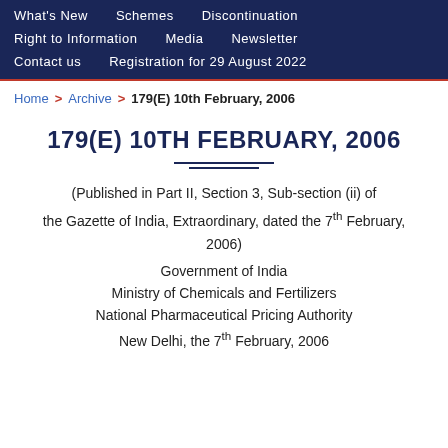What's New   Schemes   Discontinuation   Right to Information   Media   Newsletter   Contact us   Registration for 29 August 2022
Home > Archive > 179(E) 10th February, 2006
179(E) 10TH FEBRUARY, 2006
(Published in Part II, Section 3, Sub-section (ii) of the Gazette of India, Extraordinary, dated the 7th February, 2006)
Government of India
Ministry of Chemicals and Fertilizers
National Pharmaceutical Pricing Authority
New Delhi, the 7th February, 2006